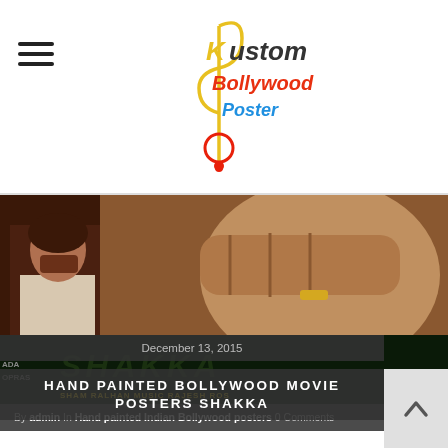Kustom Bollywood Poster
[Figure (photo): Hand painted Bollywood movie poster for Shakka showing a man in white shirt on the left, a large fist in the center-right, and dark stylized text. Bottom shows yellow text including 'SHAM RALHAN MUSIC RAJESH ROS...']
By admin In Hand painted Indian Bollywood posters 0 Comments
HAND PAINTED BOLLYWOOD MOVIE POSTERS SHAKKA
December 13, 2015